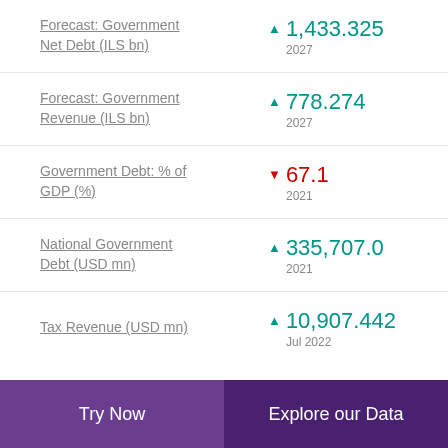Forecast: Government Net Debt (ILS bn) ▲ 1,433.325 2027
Forecast: Government Revenue (ILS bn) ▲ 778.274 2027
Government Debt: % of GDP (%) ▼ 67.1 2021
National Government Debt (USD mn) ▲ 335,707.0 2021
Tax Revenue (USD mn) ▲ 10,907.442 Jul 2022
Try Now   Explore our Data